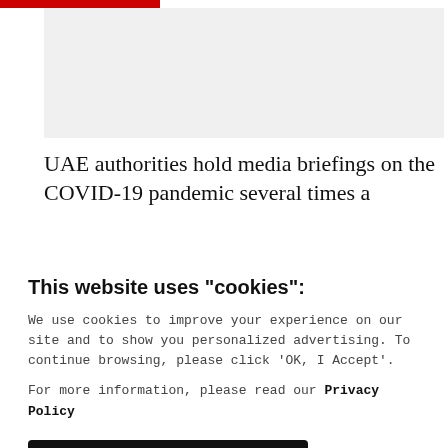[Figure (photo): Gray placeholder image area for article photo]
UAE authorities hold media briefings on the COVID-19 pandemic several times a
This website uses "cookies":
We use cookies to improve your experience on our site and to show you personalized advertising. To continue browsing, please click ‘OK, I Accept’.
For more information, please read our Privacy Policy
Ok, I Accept